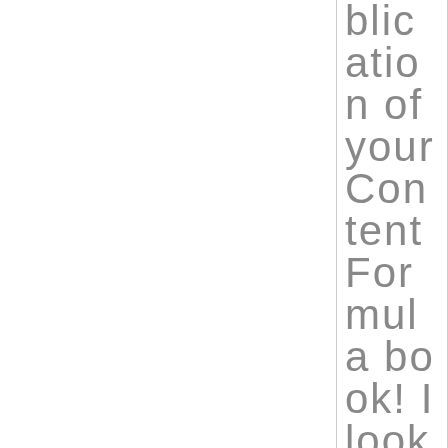blication of your Content Formulabook! I look for